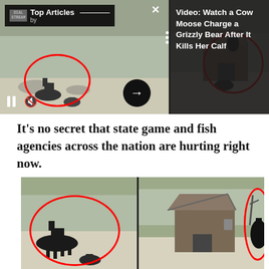[Figure (screenshot): Embedded video player showing wildlife footage (moose and grizzly bear encounter) split into two panels, with Top Articles overlay, play/pause and mute controls, red circles highlighting animals, arrow navigation button, and close button. Right side shows dark overlay with headline text.]
Video: Watch a Cow Moose Charge a Grizzly Bear After It Kills Her Calf
It's no secret that state game and fish agencies across the nation are hurting right now.
[Figure (screenshot): Wildlife camera footage showing moose and grizzly bear encounter, split into two panels with red circles highlighting animals. Left panel shows moose at water's edge with grizzly bear below, right panel shows a shed/outbuilding with moose and bear visible near it.]